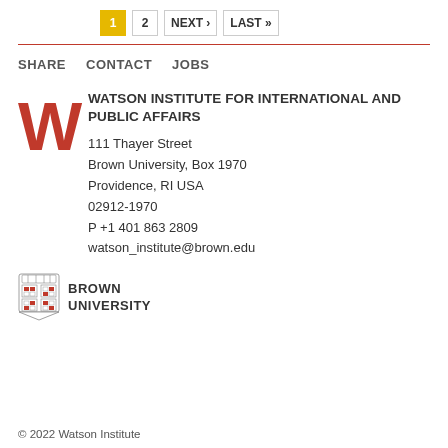1  2  NEXT ›  LAST »
SHARE   CONTACT   JOBS
WATSON INSTITUTE FOR INTERNATIONAL AND PUBLIC AFFAIRS
111 Thayer Street
Brown University, Box 1970
Providence, RI USA
02912-1970
P +1 401 863 2809
watson_institute@brown.edu
[Figure (logo): Brown University logo with shield and text BROWN UNIVERSITY]
© 2022 Watson Institute